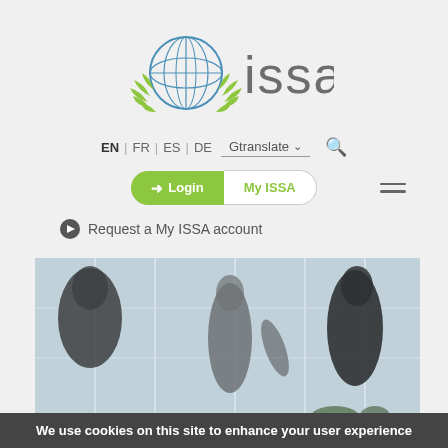[Figure (logo): ISSA logo with globe and olive branches, and 'issa' text in grey]
EN | FR | ES | DE Gtranslate ∨ 🔍
➔ Login   My ISSA
⊙ Request a My ISSA account
[Figure (photo): Blurred photo of business people walking in a modern office lobby]
We use cookies on this site to enhance your user experience